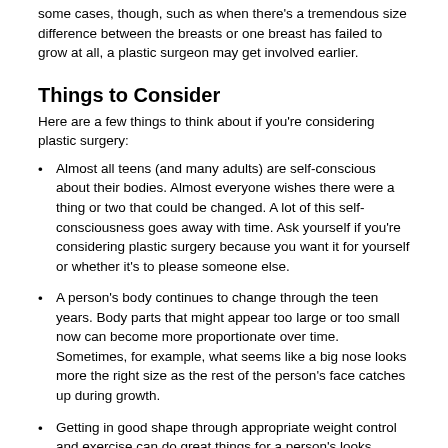some cases, though, such as when there's a tremendous size difference between the breasts or one breast has failed to grow at all, a plastic surgeon may get involved earlier.
Things to Consider
Here are a few things to think about if you're considering plastic surgery:
Almost all teens (and many adults) are self-conscious about their bodies. Almost everyone wishes there were a thing or two that could be changed. A lot of this self-consciousness goes away with time. Ask yourself if you're considering plastic surgery because you want it for yourself or whether it's to please someone else.
A person's body continues to change through the teen years. Body parts that might appear too large or too small now can become more proportionate over time. Sometimes, for example, what seems like a big nose looks more the right size as the rest of the person's face catches up during growth.
Getting in good shape through appropriate weight control and exercise can do great things for a person's looks without surgery. It's never a good idea to choose plastic surgery as a first option for something like weight loss that can be corrected in a nonsurgical manner. Gastric bypass or liposuction may seem like quick and easy fixes compared with sticking to a diet. Both of these procedures, however, carry far greater risks than dieting, and doctors should reserve them for extreme cases when all other options have failed.
Some people's emotions have a really big effect on how they think they look. People who are depressed, extremely self-critical, or have a distorted view of what they really look like sometimes think that changing their looks will solve their problems. In these cases, it won't. Working out